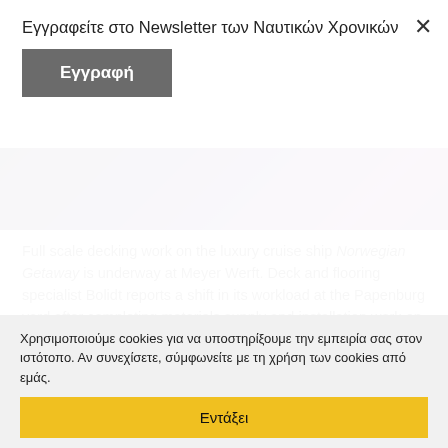Εγγραφείτε στο Newsletter των Ναυτικών Χρονικών
Εγγραφή
[Figure (photo): Dark purple/violet background image of a ship interior or deck]
Full scale decking work on the luxury cruise ship Norwegian Getaway is underway at Meyer Werft. Deck and flooring specialist Bolidt reports a shift in its workload at the Papenburg yard after completing materials supply and installation work on Norwegian Breakaway.
Norwegian Breakaway is due delivery to Norwegian Cruise Lines in April, with Norwegian Getaway to follow her into service in 2014. These 4,000-passenger ships... design will be echoed on the larger, 164,000gt Norwegian Breakaway Plus, due from Meyer Werft in October 2015.
Χρησιμοποιούμε cookies για να υποστηρίξουμε την εμπειρία σας στον ιστότοπο. Αν συνεχίσετε, σύμφωνείτε με τη χρήση των cookies από εμάς.
Εντάξει